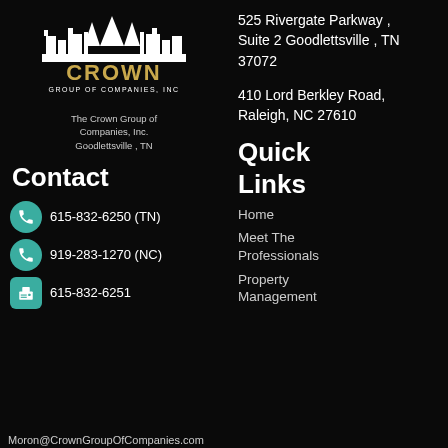[Figure (logo): Crown Group of Companies, Inc. logo - white crown/cityscape silhouette above gold CROWN text and GROUP OF COMPANIES, INC subtitle]
The Crown Group of Companies, Inc. Goodlettsville , TN
525 Rivergate Parkway , Suite 2 Goodlettsville , TN 37072
410 Lord Berkley Road, Raleigh, NC 27610
Contact
615-832-6250 (TN)
919-283-1270 (NC)
615-832-6251
Moron@CrownGroupOfCompanies.com
Quick Links
Home
Meet The Professionals
Property Management